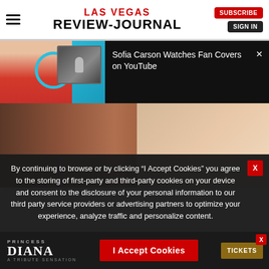LAS VEGAS REVIEW-JOURNAL
[Figure (screenshot): Video thumbnail showing Sofia Carson watching fan covers on YouTube, with a woman in red shirt and an inset of two women at a microphone]
Sofia Carson Watches Fan Covers on YouTube
[Figure (photo): Main article image showing close-up of skin/arm and a smiling blonde woman in white]
By continuing to browse or by clicking “I Accept Cookies” you agree to the storing of first-party and third-party cookies on your device and consent to the disclosure of your personal information to our third party service providers or advertising partners to optimize your experience, analyze traffic and personalize content.
[Figure (screenshot): Ad banner for Princess Diana: A Tribute Sensation show with I Accept Cookies button and TICKETS button]